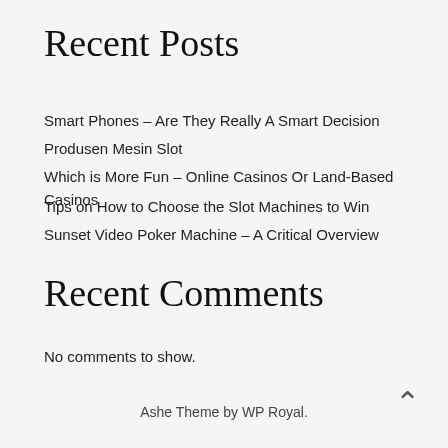Recent Posts
Smart Phones – Are They Really A Smart Decision
Produsen Mesin Slot
Which is More Fun – Online Casinos Or Land-Based Casinos
Tips on How to Choose the Slot Machines to Win
Sunset Video Poker Machine – A Critical Overview
Recent Comments
No comments to show.
Ashe Theme by WP Royal.